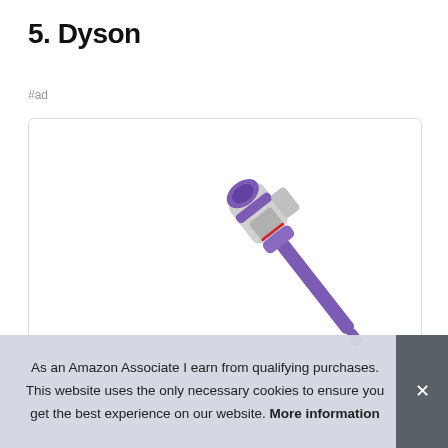5. Dyson
#ad
[Figure (photo): Dyson cordless stick vacuum cleaner with purple and silver design, shown diagonally]
As an Amazon Associate I earn from qualifying purchases. This website uses the only necessary cookies to ensure you get the best experience on our website. More information